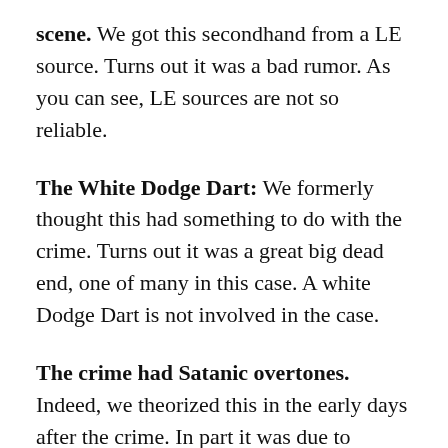scene. We got this secondhand from a LE source. Turns out it was a bad rumor. As you can see, LE sources are not so reliable.
The White Dodge Dart: We formerly thought this had something to do with the crime. Turns out it was a great big dead end, one of many in this case. A white Dodge Dart is not involved in the case.
The crime had Satanic overtones. Indeed, we theorized this in the early days after the crime. In part it was due to bizarre reports from people who saw crime scene photos that the crime appeared to have occult or Satanic overtones. We now feel that this is false. There